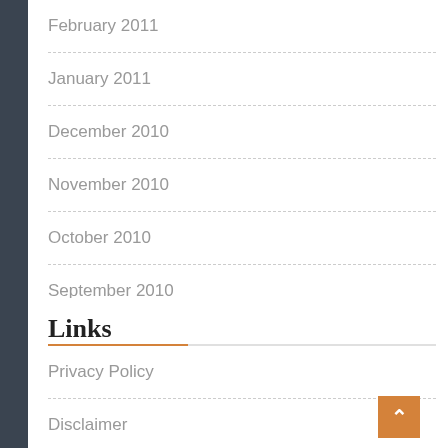February 2011
January 2011
December 2010
November 2010
October 2010
September 2010
Links
Privacy Policy
Disclaimer